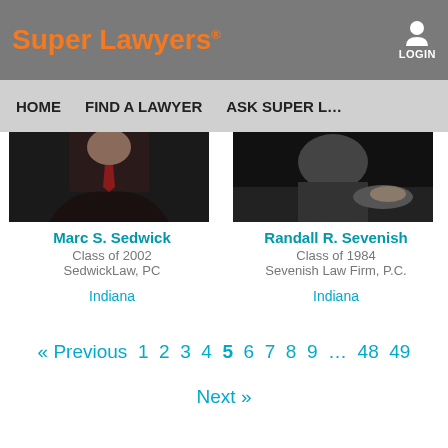[Figure (logo): Super Lawyers logo in orange and white text on grey header bar]
LOGIN
HOME   FIND A LAWYER   ASK SUPER L…
[Figure (photo): Photo of Marc S. Sedwick in dark suit with red tie]
Marc S. Sedwick
Class of 2002
SedwickLaw, PC
Indiana
[Figure (photo): Photo of Randall R. Sevenish at desk]
Randall R. Sevenish
Class of 1984
Sevenish Law Firm, P.C.
Indiana
« Previous 1 2 3 4 5 6 7 8 9 ... 48 49
Next »